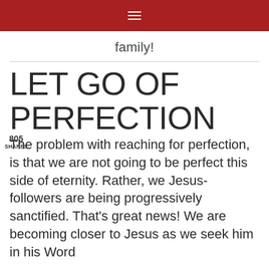≡
family!
LET GO OF PERFECTION
805 SHARES
The problem with reaching for perfection, is that we are not going to be perfect this side of eternity. Rather, we Jesus-followers are being progressively sanctified. That's great news! We are becoming closer to Jesus as we seek him in his Word